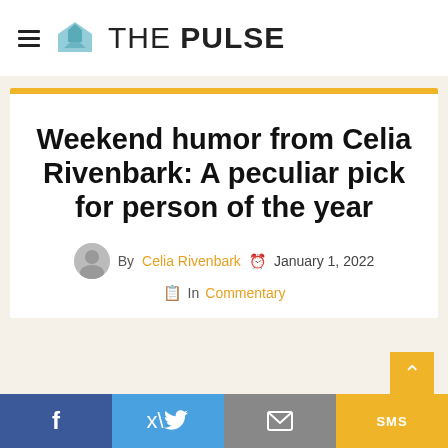THE PULSE
Weekend humor from Celia Rivenbark: A peculiar pick for person of the year
By Celia Rivenbark  January 1, 2022  In Commentary